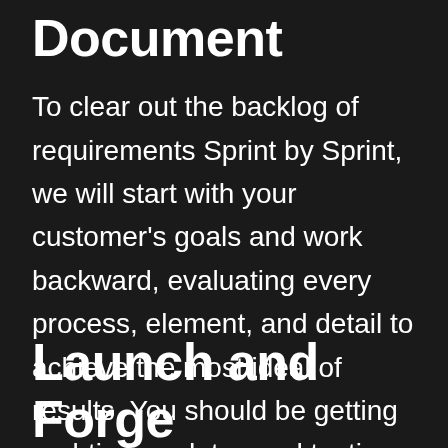Document
To clear out the backlog of requirements Sprint by Sprint, we will start with your customer's goals and work backward, evaluating every process, element, and detail to achieve the most ideal of results. You should be getting real-time updates and testing versions for the duration of the entire project.
Launch and Forge